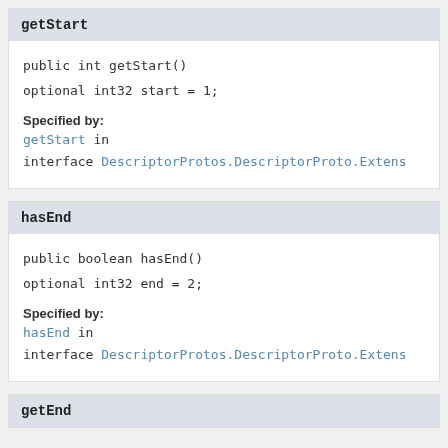getStart
public int getStart()
optional int32 start = 1;
Specified by:
getStart in interface DescriptorProtos.DescriptorProto.Extens
hasEnd
public boolean hasEnd()
optional int32 end = 2;
Specified by:
hasEnd in interface DescriptorProtos.DescriptorProto.Extens
getEnd